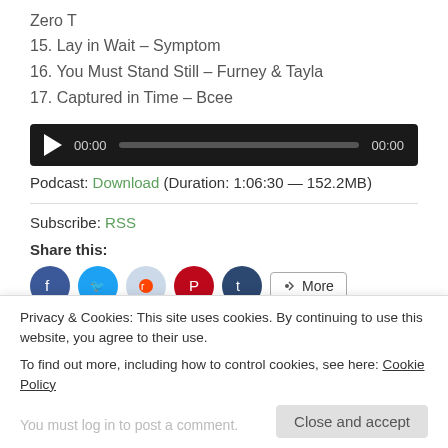Zero T
15. Lay in Wait – Symptom
16. You Must Stand Still – Furney & Tayla
17. Captured in Time – Bcee
[Figure (screenshot): Audio player with play button, 00:00 timestamp, progress bar, and 00:00 end time on black background]
Podcast: Download (Duration: 1:06:30 — 152.2MB)
Subscribe: RSS
Share this:
[Figure (infographic): Social share buttons: Facebook, Twitter, Reddit, Pinterest, Tumblr, and More]
Privacy & Cookies: This site uses cookies. By continuing to use this website, you agree to their use.
To find out more, including how to control cookies, see here: Cookie Policy
Close and accept
You must log in to post a comment.